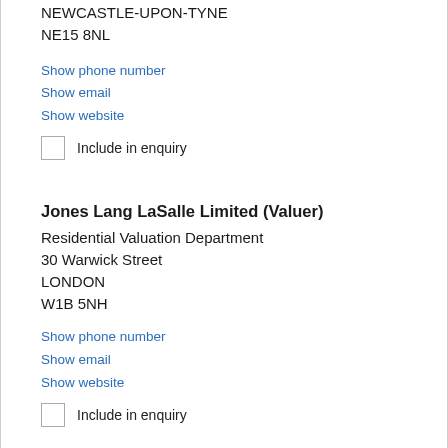NEWCASTLE-UPON-TYNE
NE15 8NL
Show phone number
Show email
Show website
Include in enquiry
Jones Lang LaSalle Limited (Valuer)
Residential Valuation Department
30 Warwick Street
LONDON
W1B 5NH
Show phone number
Show email
Show website
Include in enquiry
JPC Law LLP (Solicitor)
Omni House
350 Bethnal Road...